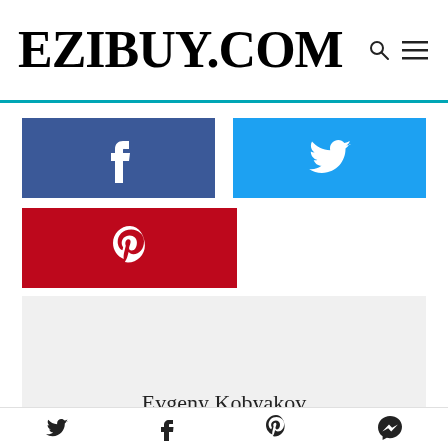[Figure (logo): EziBuy.com website logo with search and menu icons]
[Figure (infographic): Social share buttons: Facebook (dark blue), Twitter (light blue), Pinterest (red)]
[Figure (infographic): Author box with light grey background showing author name Evgeny Kobyakov]
Evgeny Kobyakov
Twitter, Facebook, Pinterest, Messenger share icons